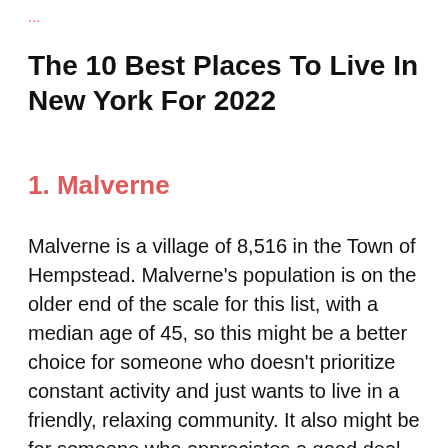...
The 10 Best Places To Live In New York For 2022
1. Malverne
Malverne is a village of 8,516 in the Town of Hempstead. Malverne's population is on the older end of the scale for this list, with a median age of 45, so this might be a better choice for someone who doesn't prioritize constant activity and just wants to live in a friendly, relaxing community. It also might be for someone who appreciates a good deal, because despite being under an hour from all